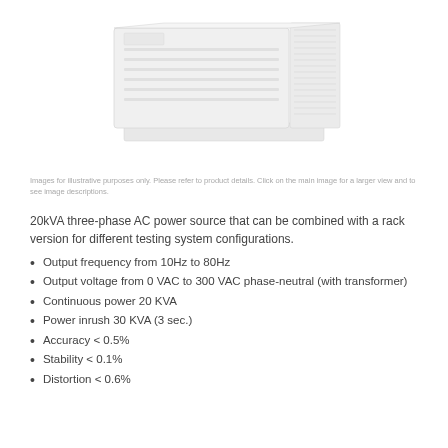[Figure (photo): Product image of a 20kVA three-phase AC power source unit, showing a large white rack-mounted device with ventilation grilles]
Images for illustrative purposes only. Please refer to product details. Click on the main image for a larger view and to see image descriptions.
20kVA three-phase AC power source that can be combined with a rack version for different testing system configurations.
Output frequency from 10Hz to 80Hz
Output voltage from 0 VAC to 300 VAC phase-neutral (with transformer)
Continuous power 20 KVA
Power inrush 30 KVA (3 sec.)
Accuracy < 0.5%
Stability < 0.1%
Distortion < 0.6%